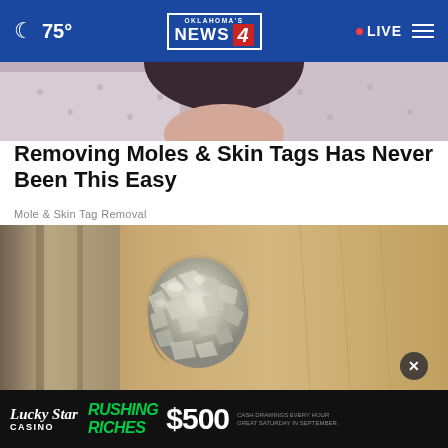75° | Oklahoma's News 4 | LIVE
[Figure (photo): Partial photo of a person wearing a floral/polka dot shirt, cropped — top portion of article image]
Removing Moles & Skin Tags Has Never Been This Easy
Mole & Skin Tag Removal
[Figure (photo): Photo of a door knob wrapped in crumpled aluminum foil, against a wooden door background]
[Figure (other): Lucky Star Casino advertisement banner — RUSHING RICHES $500 — CASH DRAWINGS EVERY HOUR GREAT SATURDAY IN SEPTEMBER]